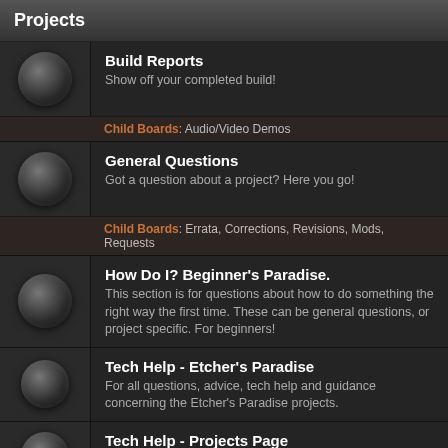Projects
Build Reports
Show off your completed build!
Child Boards: Audio/Video Demos
General Questions
Got a question about a project? Here you go!
Child Boards: Errata, Corrections, Revisions, Mods, Requests
How Do I? Beginner's Paradise.
This section is for questions about how to do something the right way the first time. These can be general questions, or project specific. For beginners!
Tech Help - Etcher's Paradise
For all questions, advice, tech help and guidance concerning the Etcher's Paradise projects.
Tech Help - Projects Page
For all technical issues regarding the Store PCB's.
VFE Projects
This area is for all general and support questions for the VFE projects.